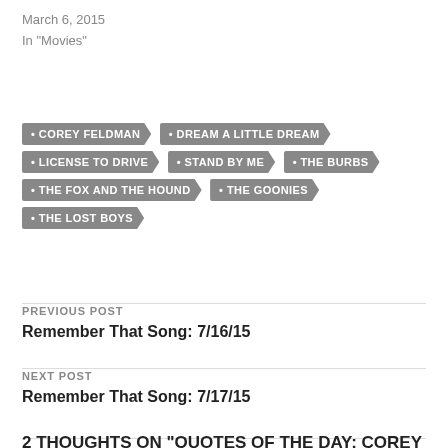March 6, 2015
In "Movies"
COREY FELDMAN
DREAM A LITTLE DREAM
LICENSE TO DRIVE
STAND BY ME
THE BURBS
THE FOX AND THE HOUND
THE GOONIES
THE LOST BOYS
PREVIOUS POST
Remember That Song: 7/16/15
NEXT POST
Remember That Song: 7/17/15
2 THOUGHTS ON "QUOTES OF THE DAY: COREY FELDMAN EDITION"